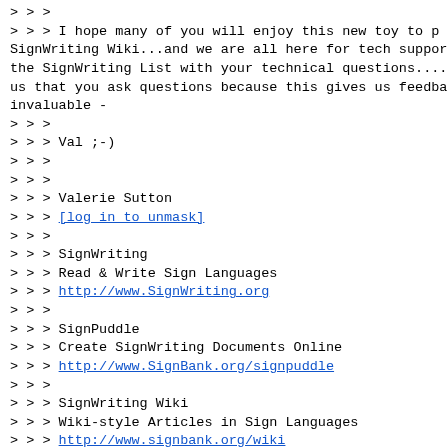> > >
> > > I hope many of you will enjoy this new toy to p
SignWriting Wiki...and we are all here for tech suppor
the SignWriting List with your technical questions....
us that you ask questions because this gives us feedba
invaluable -
> > >
> > > Val ;-)
> > >
> > >
> > > Valerie Sutton
> > > [log in to unmask]
> > >
> > > SignWriting
> > > Read & Write Sign Languages
> > > http://www.SignWriting.org
> > >
> > > SignPuddle
> > > Create SignWriting Documents Online
> > > http://www.SignBank.org/signpuddle
> > >
> > > SignWriting Wiki
> > > Wiki-style Articles in Sign Languages
> > > http://www.signbank.org/wiki
> > >
> > > SignWriting List
> > > Technical Support: Ask questions...
> > > http://www.SignWriting.org/forums/swlist
> > >
> > > SignWriting Literature Project